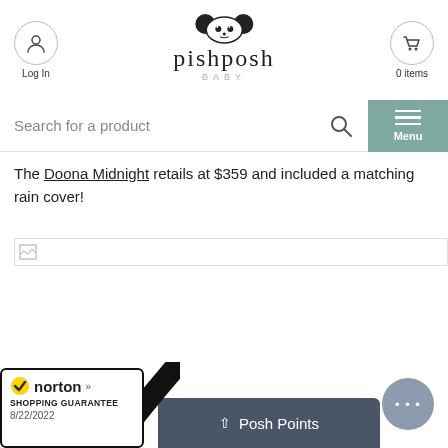pishposh BABY — Log In | 0 items | Menu
Search for a product
The Doona Midnight retails at $359 and included a matching rain cover!
[Figure (photo): Broken image placeholder]
Norton Shopping Guarantee 8/22/2022 | Posh Points